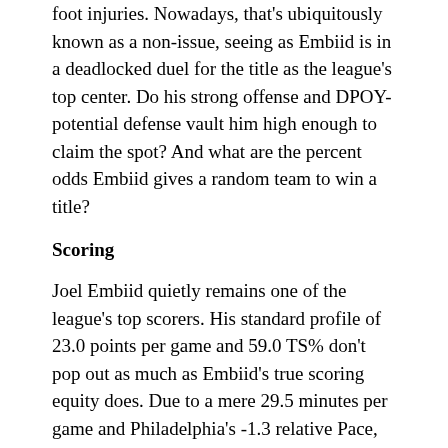foot injuries. Nowadays, that's ubiquitously known as a non-issue, seeing as Embiid is in a deadlocked duel for the title as the league's top center. Do his strong offense and DPOY-potential defense vault him high enough to claim the spot? And what are the percent odds Embiid gives a random team to win a title?
Scoring
Joel Embiid quietly remains one of the league's top scorers. His standard profile of 23.0 points per game and 59.0 TS% don't pop out as much as Embiid's true scoring equity does. Due to a mere 29.5 minutes per game and Philadelphia's -1.3 relative Pace, Embiid was actually closer to a 28 points per game scorer; during the regular season, he averaged 28.4 points per 75 possessions on +2.5